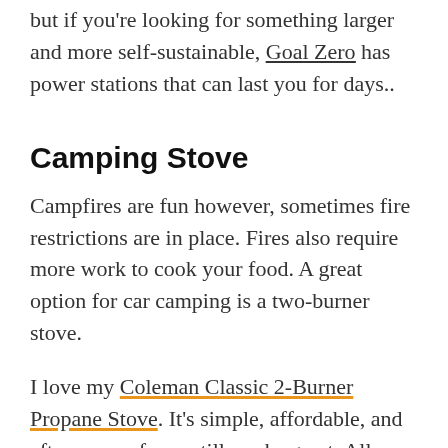but if you're looking for something larger and more self-sustainable, Goal Zero has power stations that can last you for days..
Camping Stove
Campfires are fun however, sometimes fire restrictions are in place. Fires also require more work to cook your food. A great option for car camping is a two-burner stove.
I love my Coleman Classic 2-Burner Propane Stove. It's simple, affordable, and after years of use, still works great. All you need is a can of propane and you're good to go.